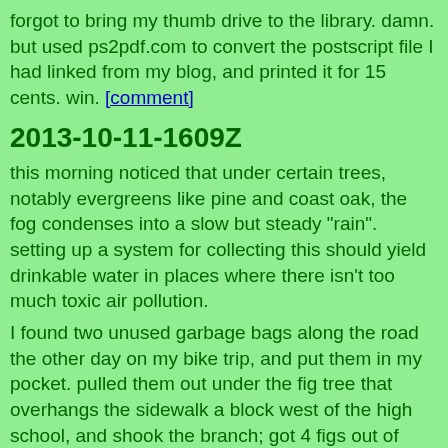forgot to bring my thumb drive to the library. damn. but used ps2pdf.com to convert the postscript file I had linked from my blog, and printed it for 15 cents. win. [comment]
2013-10-11-1609Z
this morning noticed that under certain trees, notably evergreens like pine and coast oak, the fog condenses into a slow but steady "rain". setting up a system for collecting this should yield drinkable water in places where there isn't too much toxic air pollution.
I found two unused garbage bags along the road the other day on my bike trip, and put them in my pocket. pulled them out under the fig tree that overhangs the sidewalk a block west of the high school, and shook the branch; got 4 figs out of maybe 10 that fell. need a bigger tarp for sure. [comment]
2013-10-11-0745Z
final version of code. for tonight anyway. [comment]
2013-10-11-0035Z